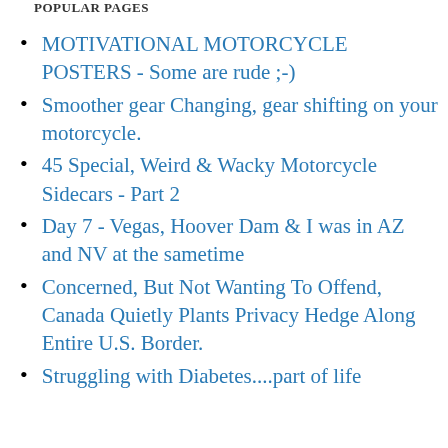POPULAR PAGES
MOTIVATIONAL MOTORCYCLE POSTERS - Some are rude ;-)
Smoother gear Changing, gear shifting on your motorcycle.
45 Special, Weird & Wacky Motorcycle Sidecars - Part 2
Day 7 - Vegas, Hoover Dam & I was in AZ and NV at the sametime
Concerned, But Not Wanting To Offend, Canada Quietly Plants Privacy Hedge Along Entire U.S. Border.
Struggling with Diabetes....part of life